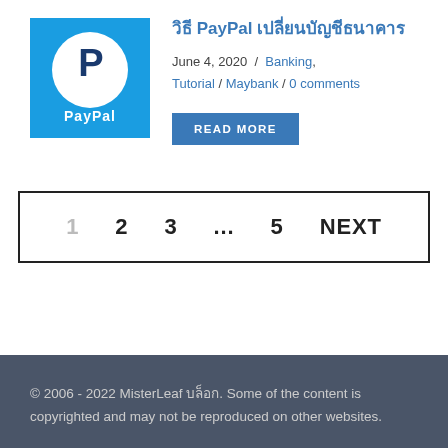[Figure (logo): PayPal logo on blue background with white circle containing dark blue P letter and PayPal text]
วิธี PayPal เปลี่ยนบัญชีธนาคาร
June 4, 2020 / Banking, Tutorial / Maybank / 0 comments
READ MORE
1  2  3  ...  5  NEXT
© 2006 - 2022 MisterLeaf บล็อก. Some of the content is copyrighted and may not be reproduced on other websites.